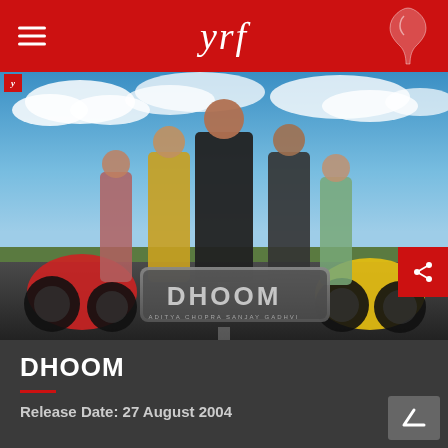yrf
[Figure (photo): Movie poster for DHOOM (2004) showing five actors standing on a road with motorcycles. Two men in center wearing black jacket and yellow t-shirt, flanked by two women and another man. A red sportbike on the left, yellow sportbike on right. Blue sky with clouds in background. DHOOM logo at bottom center. YRF logo in top-left corner.]
DHOOM
Release Date: 27 August 2004